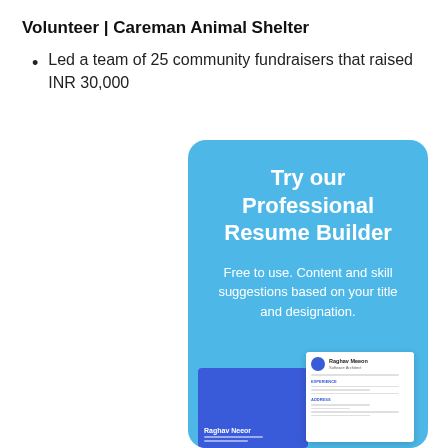Volunteer | Careman Animal Shelter
Led a team of 25 community fundraisers that raised INR 30,000
[Figure (infographic): Blue rounded rectangle ad card for a Professional Resume Builder tool. Contains bold white title 'Try our Professional Resume Builder', description text 'Free to use. Content and skill suggestions based on your title and designation.', and two overlapping resume mockup images at the bottom — one blue-themed and one white with header.]